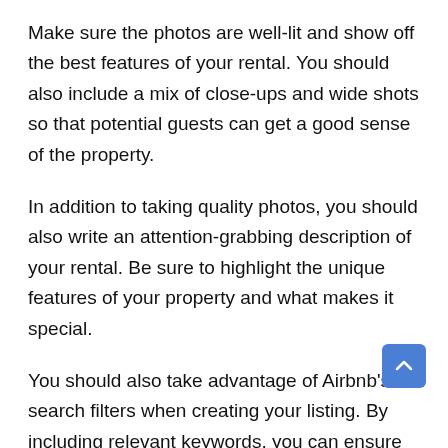Make sure the photos are well-lit and show off the best features of your rental. You should also include a mix of close-ups and wide shots so that potential guests can get a good sense of the property.
In addition to taking quality photos, you should also write an attention-grabbing description of your rental. Be sure to highlight the unique features of your property and what makes it special.
You should also take advantage of Airbnb's search filters when creating your listing. By including relevant keywords, you can ensure that your listing appears when potential guests search for a rental that meets their needs.
It's also essential to take advantage of reviews. By